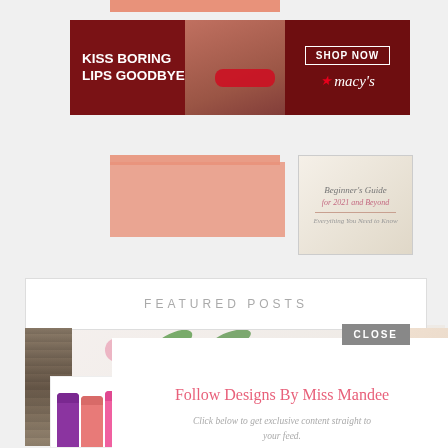[Figure (screenshot): Macy's advertisement banner with text KISS BORING LIPS GOODBYE, woman's face with red lips, SHOP NOW button, and Macy's star logo]
[Figure (illustration): Salmon/peach colored decorative rectangles overlaid on the page]
[Figure (photo): Beginner's Guide book cover for 2021 and Beyond, Everything You Need to Know]
FEATURED POSTS
[Figure (photo): Floral background with pink flowers and green leaves for featured posts section]
[Figure (screenshot): Follow Designs By Miss Mandee popup overlay with Pinterest follow link and CLOSE button]
Follow Designs By Miss Mandee
Click below to get exclusive content straight to your feed.
DesignsByMissM
[Figure (screenshot): MAC cosmetics advertisement banner with lipsticks, MAC logo, and SHOP NOW button]